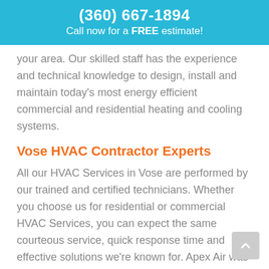(360) 667-1894
Call now for a FREE estimate!
your area. Our skilled staff has the experience and technical knowledge to design, install and maintain today's most energy efficient commercial and residential heating and cooling systems.
Vose HVAC Contractor Experts
All our HVAC Services in Vose are performed by our trained and certified technicians. Whether you choose us for residential or commercial HVAC Services, you can expect the same courteous service, quick response time and effective solutions we're known for. Apex Air was started with the simple belief that everybody should have a quality, efficient HVAC system at a price to fit